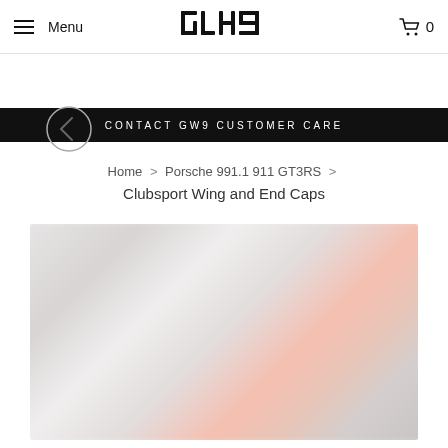Menu | GW9 Logo | Cart 0
CONTACT GW9 CUSTOMER CARE
< (back button)
Home > Porsche 991.1 911 GT3RS > Clubsport Wing and End Caps
Clubsport Wing and End Caps
[Figure (photo): Blurred product photo of a Porsche 991.1 911 GT3RS Clubsport Wing and End Caps, showing a rear wing component in gray/silver tones with some pinkish/orange accents, blurred for privacy or loading state.]